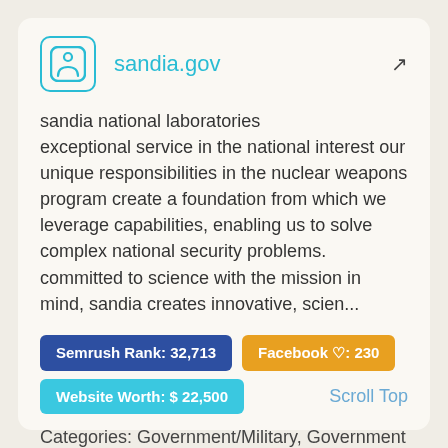[Figure (logo): Sandia.gov site icon: teal rounded square with a person/accessibility icon]
sandia.gov
sandia national laboratories exceptional service in the national interest our unique responsibilities in the nuclear weapons program create a foundation from which we leverage capabilities, enabling us to solve complex national security problems. committed to science with the mission in mind, sandia creates innovative, scien...
Semrush Rank: 32,713
Facebook ♡: 230
Website Worth: $ 22,500
Scroll Top
Categories: Government/Military, Government and Legal Organizations
Is it similar?
Yes 0
No 0